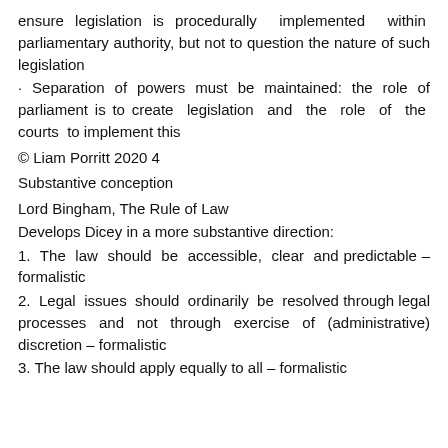ensure legislation is procedurally implemented within parliamentary authority, but not to question the nature of such legislation
· Separation of powers must be maintained: the role of parliament is to create legislation and the role of the courts to implement this
© Liam Porritt 2020 4
Substantive conception
Lord Bingham, The Rule of Law
Develops Dicey in a more substantive direction:
1.  The law should be accessible, clear and predictable – formalistic
2.  Legal issues should ordinarily be resolved through legal processes and not through exercise of (administrative) discretion – formalistic
3. The law should apply equally to all – formalistic